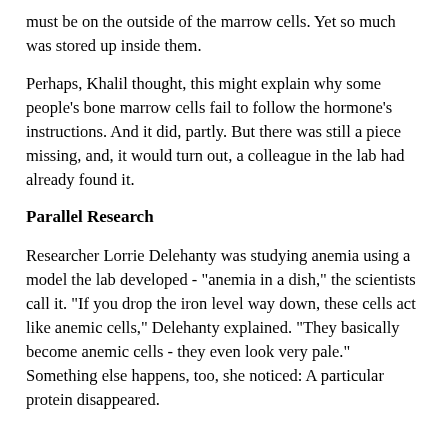must be on the outside of the marrow cells. Yet so much was stored up inside them.
Perhaps, Khalil thought, this might explain why some people's bone marrow cells fail to follow the hormone's instructions. And it did, partly. But there was still a piece missing, and, it would turn out, a colleague in the lab had already found it.
Parallel Research
Researcher Lorrie Delehanty was studying anemia using a model the lab developed - "anemia in a dish," the scientists call it. "If you drop the iron level way down, these cells act like anemic cells," Delehanty explained. "They basically become anemic cells - they even look very pale." Something else happens, too, she noticed: A particular protein disappeared.